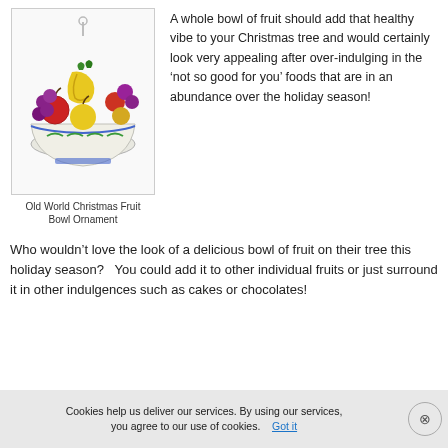[Figure (photo): Christmas ornament shaped like a bowl of colorful fruit (bananas, apples, grapes) on a white decorative dish with blue and green trim]
Old World Christmas Fruit Bowl Ornament
A whole bowl of fruit should add that healthy vibe to your Christmas tree and would certainly look very appealing after over-indulging in the ‘not so good for you’ foods that are in an abundance over the holiday season!
Who wouldn't love the look of a delicious bowl of fruit on their tree this holiday season?   You could add it to other individual fruits or just surround it in other indulgences such as cakes or chocolates!
Cookies help us deliver our services. By using our services, you agree to our use of cookies. Got it